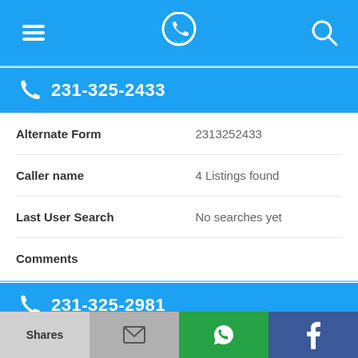Navigation bar with menu, phone/location icon, search icon
231-325-2433
| Field | Value |
| --- | --- |
| Alternate Form | 2313252433 |
| Caller name | 4 Listings found |
| Last User Search | No searches yet |
| Comments |  |
231-325-2981
| Field | Value |
| --- | --- |
| Alternate Form | 2313252981 |
Shares | (email) | (WhatsApp) | f (Facebook)